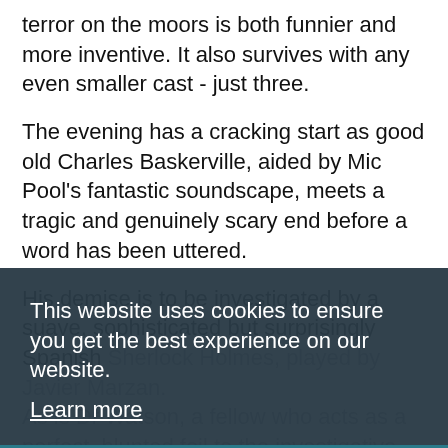terror on the moors is both funnier and more inventive. It also survives with any even smaller cast - just three.
The evening has a cracking start as good old Charles Baskerville, aided by Mic Pool's fantastic soundscape, meets a tragic and genuinely scary end before a word has been uttered.
His demise is to be investigated by a suave, sophisticated but surprisingly Spanish Sherlock Holmes, played by Javier Marzan. As is Dr Watson, a fellow who acts as a perfect, blunted foil to the investigative genius throughout the adventure, good-
This website uses cookies to ensure you get the best experience on our website. Learn more
Got it!
The teamwork between these two is